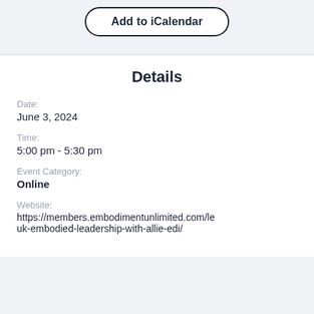Add to iCalendar
Details
Date:
June 3, 2024
Time:
5:00 pm - 5:30 pm
Event Category:
Online
Website:
https://members.embodimentunlimited.com/le uk-embodied-leadership-with-allie-edi/